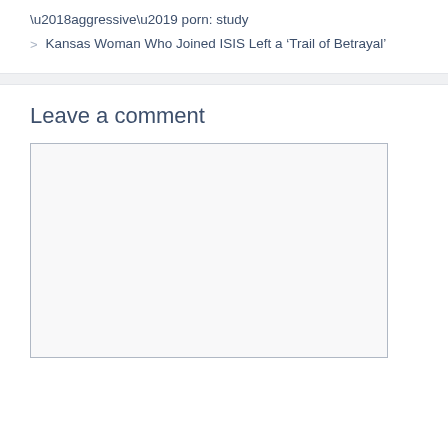‘aggressive’ porn: study
> Kansas Woman Who Joined ISIS Left a ‘Trail of Betrayal’
Leave a comment